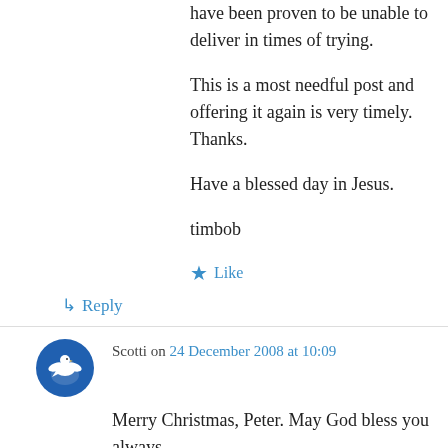have been proven to be unable to deliver in times of trying.
This is a most needful post and offering it again is very timely. Thanks.
Have a blessed day in Jesus.
timbob
★ Like
↳ Reply
Scotti on 24 December 2008 at 10:09
Merry Christmas, Peter. May God bless you always.